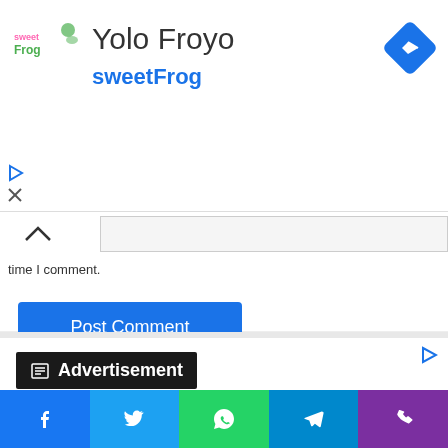[Figure (screenshot): sweetFrog Yolo Froyo advertisement banner with logo, title, subtitle in blue, navigation diamond icon, and play/close controls]
time I comment.
[Figure (screenshot): Post Comment button — blue rectangle with white text]
Advertisement
[Figure (photo): Blurred image of a book/notebook on light surface, advertisement image]
[Figure (screenshot): Bottom share bar with Facebook, Twitter, WhatsApp, Telegram, and phone icons]